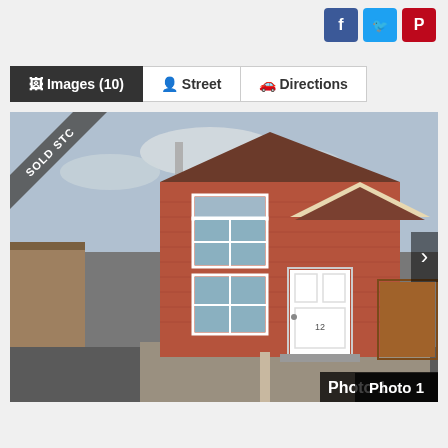[Figure (other): Social media share buttons: Facebook (blue), Twitter (light blue), Pinterest (red)]
[Figure (other): Navigation buttons: Images (10) [dark], Street, Directions]
[Figure (photo): Photo of a semi-detached brick house with white front door, UPVC windows, tiled roof, wooden side fence, gravel driveway. Corner ribbon reads SOLD STC. Arrow navigation on right. Label: Photo 1 in bottom right corner.]